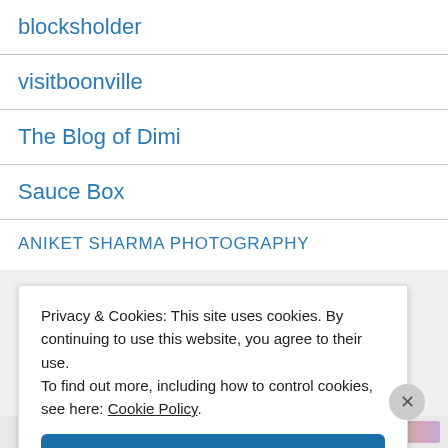blocksholder
visitboonville
The Blog of Dimi
Sauce Box
ANIKET SHARMA PHOTOGRAPHY
Privacy & Cookies: This site uses cookies. By continuing to use this website, you agree to their use.
To find out more, including how to control cookies, see here: Cookie Policy
Close and accept